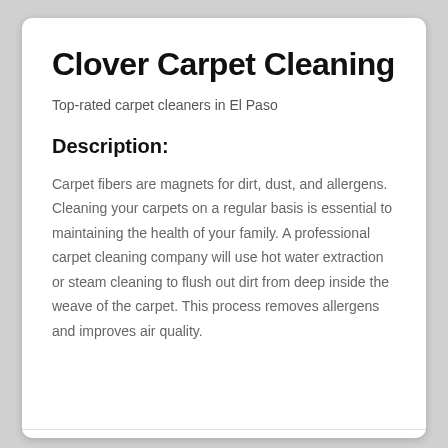Clover Carpet Cleaning
Top-rated carpet cleaners in El Paso
Description:
Carpet fibers are magnets for dirt, dust, and allergens. Cleaning your carpets on a regular basis is essential to maintaining the health of your family. A professional carpet cleaning company will use hot water extraction or steam cleaning to flush out dirt from deep inside the weave of the carpet. This process removes allergens and improves air quality.